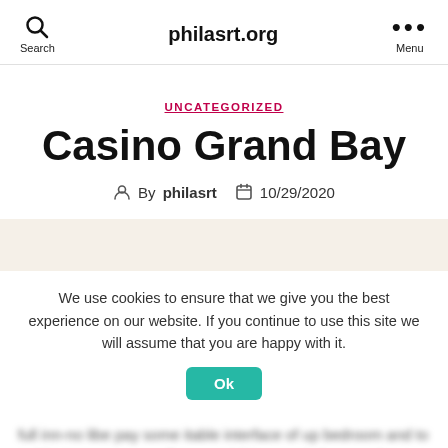philasrt.org
UNCATEGORIZED
Casino Grand Bay
By philasrt   10/29/2020
We use cookies to ensure that we give you the best experience on our website. If you continue to use this site we will assume that you are happy with it.
Ok